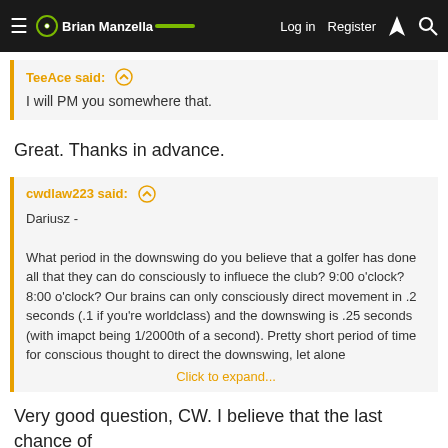Brian Manzella | Log in | Register
TeeAce said: ↑
I will PM you somewhere that.
Great. Thanks in advance.
cwdlaw223 said: ↑
Dariusz -

What period in the downswing do you believe that a golfer has done all that they can do consciously to influece the club? 9:00 o'clock? 8:00 o'clock? Our brains can only consciously direct movement in .2 seconds (.1 if you're worldclass) and the downswing is .25 seconds (with imapct being 1/2000th of a second). Pretty short period of time for conscious thought to direct the downswing, let alone
Click to expand...
Very good question, CW. I believe that the last chance of